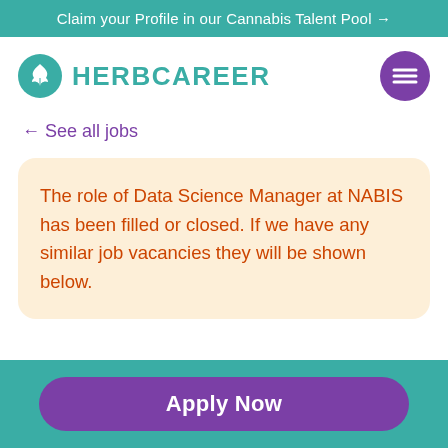Claim your Profile in our Cannabis Talent Pool →
[Figure (logo): HerbCareer logo with teal cannabis leaf icon and teal text reading HERBCAREER, plus purple hamburger menu button]
← See all jobs
The role of Data Science Manager at NABIS has been filled or closed. If we have any similar job vacancies they will be shown below.
Apply Now